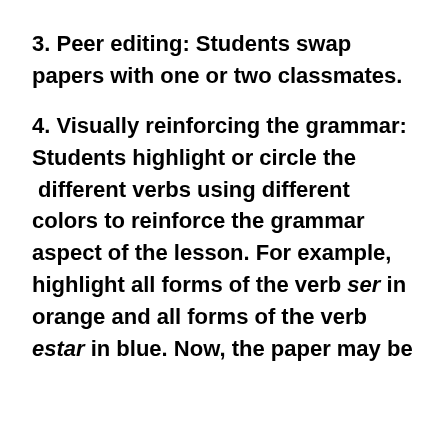3. Peer editing: Students swap papers with one or two classmates.
4. Visually reinforcing the grammar: Students highlight or circle the  different verbs using different colors to reinforce the grammar aspect of the lesson. For example, highlight all forms of the verb ser in orange and all forms of the verb estar in blue. Now, the paper may be